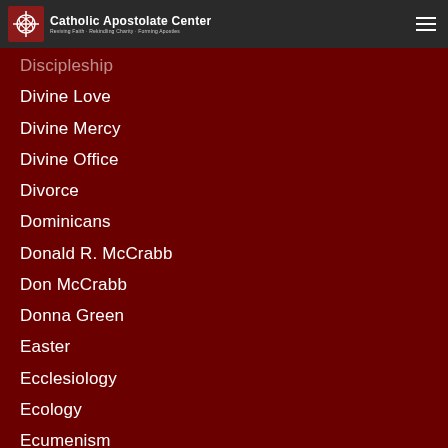Catholic Apostolate Center — Reviving Faith · Rekindling Charity · Forming Apostles
Discipleship
Divine Love
Divine Mercy
Divine Office
Divorce
Dominicans
Donald R. McCrabb
Don McCrabb
Donna Green
Easter
Ecclesiology
Ecology
Ecumenism
Eddie O'Brien
Edmund O'Brien
Education
Eileen-welch
Elaine Seckar